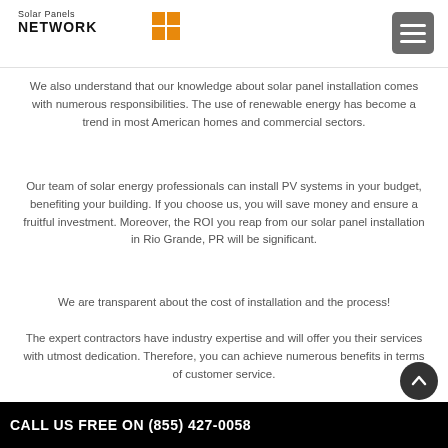Solar Panels NETWORK
We also understand that our knowledge about solar panel installation comes with numerous responsibilities. The use of renewable energy has become a trend in most American homes and commercial sectors.
Our team of solar energy professionals can install PV systems in your budget, benefiting your building. If you choose us, you will save money and ensure a fruitful investment. Moreover, the ROI you reap from our solar panel installation in Rio Grande, PR will be significant.
We are transparent about the cost of installation and the process!
The expert contractors have industry expertise and will offer you their services with utmost dedication. Therefore, you can achieve numerous benefits in terms of customer service.
CALL US FREE ON (855) 427-0058